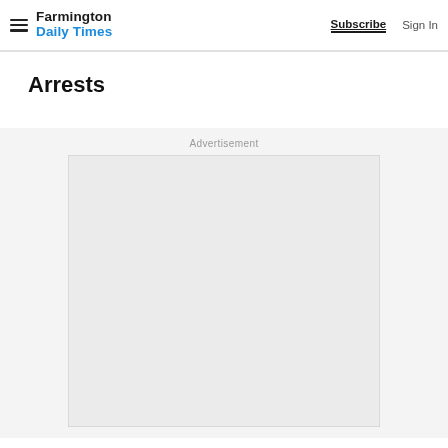Farmington Daily Times | Subscribe | Sign In
Arrests
Advertisement